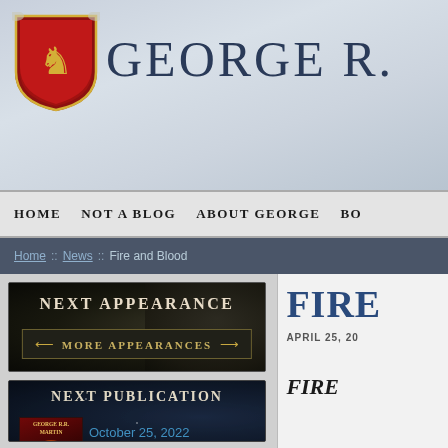[Figure (screenshot): George R.R. Martin website header with Lannister lion crest/shield and site title 'GEORGE R.' in large serif letters on stone-textured background]
HOME   NOT A BLOG   ABOUT GEORGE   BO
Home :: News :: Fire and Blood
[Figure (screenshot): NEXT APPEARANCE box with dark stone background and MORE APPEARANCES button with decorative arrows]
[Figure (screenshot): NEXT PUBLICATION box showing book cover for Rise of the Dragon, date October 25, 2022, title RISE OF THE DRAGON]
FIRE
APRIL 25, 20
FIRE